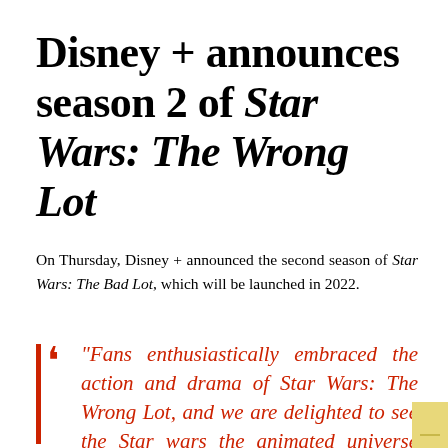Disney + announces season 2 of Star Wars: The Wrong Lot
On Thursday, Disney + announced the second season of Star Wars: The Bad Lot, which will be launched in 2022.
“Fans enthusiastically embraced the action and drama of Star Wars: The Wrong Lot, and we are delighted to see the Star wars the animated universe continues to develop on Disney...